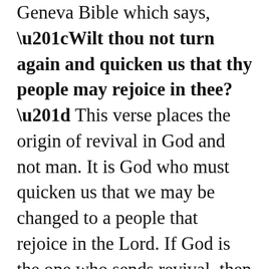Geneva Bible which says, “Wilt thou not turn again and quicken us that thy people may rejoice in thee?” This verse places the origin of revival in God and not man. It is God who must quicken us that we may be changed to a people that rejoice in the Lord. If God is the one who sends revival, then it is to